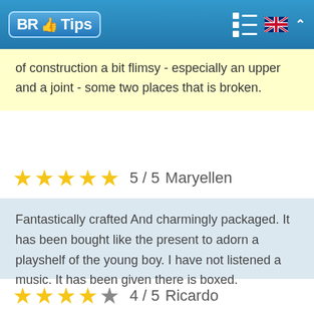BR Tips
of construction a bit flimsy - especially an upper and a joint - some two places that is broken.
★★★★★ 5 / 5   Maryellen
Fantastically crafted And charmingly packaged. It has been bought like the present to adorn a playshelf of the young boy. I have not listened a music. It has been given there is boxed.
★★★★☆ 4 / 5   Ricardo